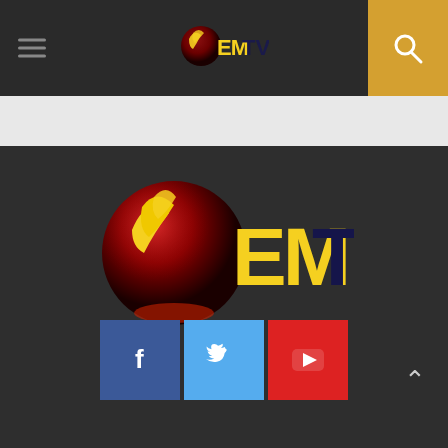EMTV header navigation bar with logo and search
[Figure (logo): EMTV logo centered in header - small version]
[Figure (logo): EMTV large logo centered on dark background - red globe with bird of paradise, yellow EM letters and dark TV letters]
[Figure (infographic): Social media buttons row: Facebook (blue), Twitter (light blue), YouTube (red) with icons]